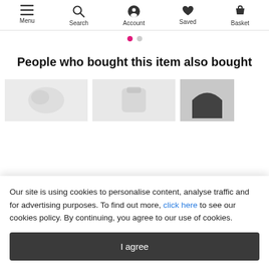Menu  Search  Account  Saved  Basket
[Figure (other): Carousel pagination dots: one pink active dot and one grey dot]
People who bought this item also bought
[Figure (photo): Three partially visible product thumbnail images of clothing items]
Our site is using cookies to personalise content, analyse traffic and for advertising purposes. To find out more, click here to see our cookies policy. By continuing, you agree to our use of cookies.
I agree